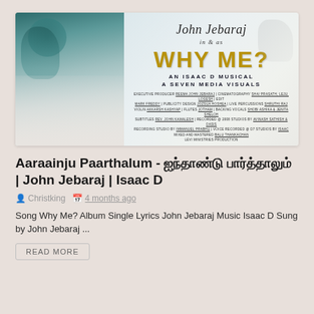[Figure (photo): Movie promotional banner for 'Why Me?' featuring John Jebaraj. Left side shows a portrait of John Jebaraj with teal/blue hair highlights. Right side shows cursive text 'John Jebaraj in & as WHY ME? AN ISAAC D MUSICAL A SEVEN MEDIA VISUALS' with production credits below.]
Aaraainju Paarthalum - ஐந்தாண்டு பார்த்தாலும் | John Jebaraj | Isaac D
Christking  4 months ago
Song Why Me? Album Single Lyrics John Jebaraj Music Isaac D Sung by John Jebaraj ...
READ MORE